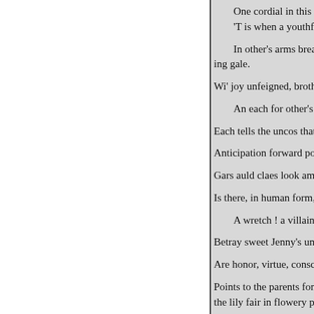One cordial in this melanc
'T is when a youthful, lovin

In other's arms breathe out the
ing gale.

Wi' joy unfeigned, brothers and s

An each for other's welfare ki

Each tells the uncos that he sees

Anticipation forward points the v

Gars auld claes look amaist as w

Is there, in human form, that bea

A wretch ! a villain ! lost to lo

Betray sweet Jenny's unsuspectin

Are honor, virtue, conscience, al

Points to the parents fondling o'e
the lily fair in flowery pride, Wo

For them and for their little ones

But now the supper crowns the s